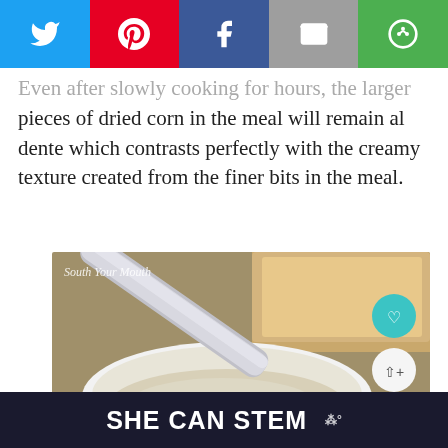[Figure (other): Social media share bar with Twitter (blue), Pinterest (red), Facebook (dark blue), Email (gray), and More (green) buttons]
Even after slowly cooking for hours, the larger pieces of dried corn in the meal will remain al dente which contrasts perfectly with the creamy texture created from the finer bits in the meal.
[Figure (photo): Close-up photo of creamy grits or porridge in a white bowl with a silver spoon, with toast visible in background. Watermark reads 'South Your Mouth']
WHAT'S NEXT → South Your Mouth
SHE CAN STEM